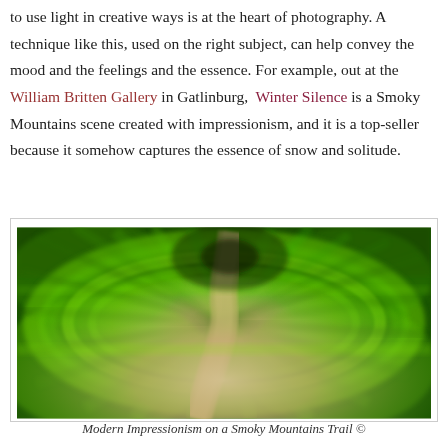to use light in creative ways is at the heart of photography. A technique like this, used on the right subject, can help convey the mood and the feelings and the essence. For example, out at the William Britten Gallery in Gatlinburg,  Winter Silence is a Smoky Mountains scene created with impressionism, and it is a top-seller because it somehow captures the essence of snow and solitude.
[Figure (photo): A motion-blur / spin-zoom impressionistic photograph of a winding dirt trail through bright green trees, creating a circular swirl effect around the path. The foliage is vivid green with radial motion blur giving a painterly, impressionistic look.]
Modern Impressionism on a Smoky Mountains Trail ©